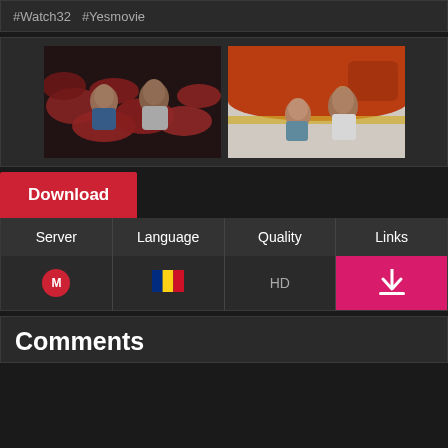#Watch32  #Yesmovie
[Figure (photo): Two movie stills side by side: left shows a woman and man crouching behind large red inflatable tubes in dark lighting; right shows a young woman and man crouching against orange inflatable structures, looking alarmed]
| Server | Language | Quality | Links |
| --- | --- | --- | --- |
| M (Mega icon) | 🇷🇴 (Romanian flag) | HD | Download button |
Comments